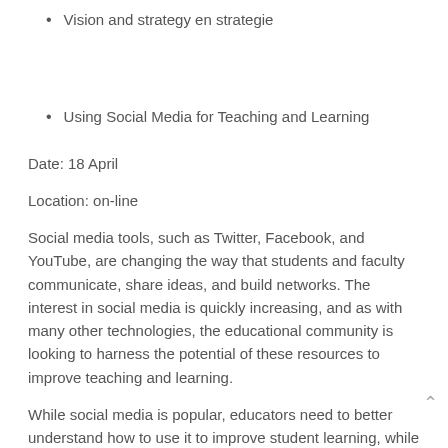Vision and strategy en strategie
Using Social Media for Teaching and Learning
Date: 18 April
Location: on-line
Social media tools, such as Twitter, Facebook, and YouTube, are changing the way that students and faculty communicate, share ideas, and build networks. The interest in social media is quickly increasing, and as with many other technologies, the educational community is looking to harness the potential of these resources to improve teaching and learning.
While social media is popular, educators need to better understand how to use it to improve student learning, while being mindful of privacy concerns. At the conference we showcase some effective